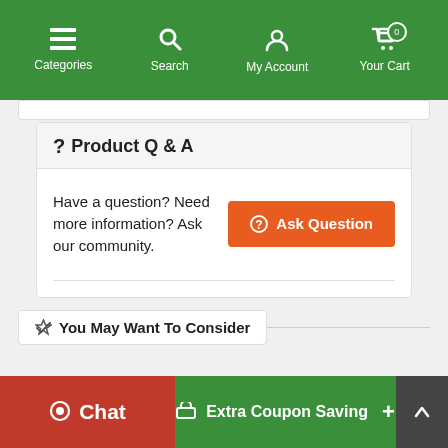Categories | Search | My Account | Your Cart (0)
? Product Q & A
Have a question? Need more information? Ask our community.
Ask Question (button)
You May Want To Consider
Chat | Extra Coupon Saving +